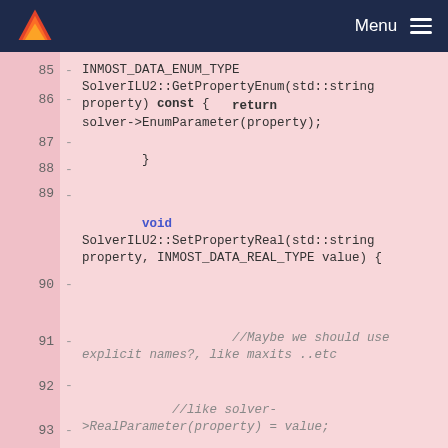Menu
85  -  INMOST_DATA_ENUM_TYPE SolverILU2::GetPropertyEnum(std::string property) const {
86  -  return solver->EnumParameter(property);
87  -  }
88  -
89  -  void SolverILU2::SetPropertyReal(std::string property, INMOST_DATA_REAL_TYPE value) {
90  -  //Maybe we should use explicit names?, like maxits ..etc
91  -  //like solver->RealParameter(property) = value;
92  -  if (property == "absolute_tolerance") {
93  -